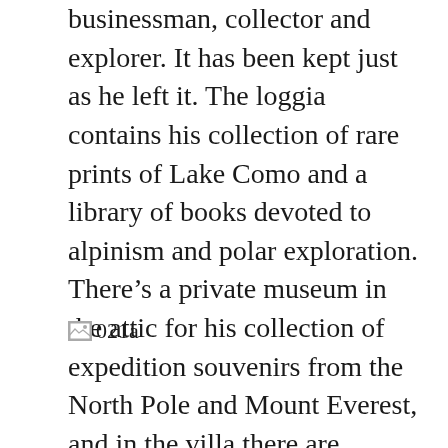businessman, collector and explorer. It has been kept just as he left it. The loggia contains his collection of rare prints of Lake Como and a library of books devoted to alpinism and polar exploration. There's a private museum in the attic for his collection of expedition souvenirs from the North Pole and Mount Everest, and in the villa there are precious tapestries, chandeliers, Chinese ceramics and a rare collection of reverse paintings on glass.
[Figure (other): Broken image placeholder with label '021a']